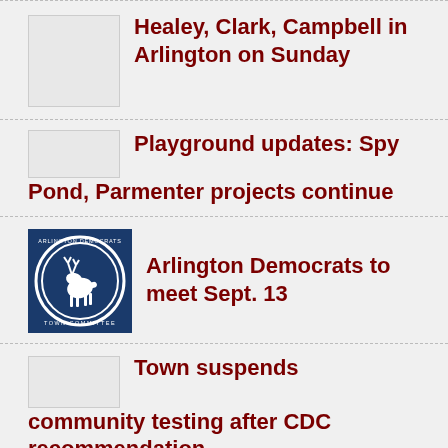Healey, Clark, Campbell in Arlington on Sunday
Playground updates: Spy Pond, Parmenter projects continue
Arlington Democrats to meet Sept. 13
Town suspends community testing after CDC recommendation
Zero Waste Arlington launches